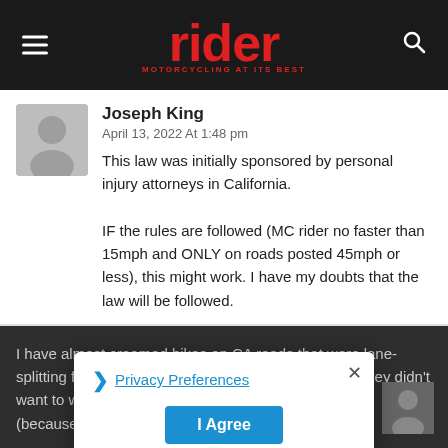rider — MOTORCYCLING AT ITS BEST
Joseph King
April 13, 2022 At 1:48 pm
This law was initially sponsored by personal injury attorneys in California.

IF the rules are followed (MC rider no faster than 15mph and ONLY on roads posted 45mph or less), this might work. I have my doubts that the law will be followed.
I have almost creamed bikes on CA roads that were lane-splitting faster than the 65 mph speed limit because they didn't want to wait in traffic. When I called Highway Patrol (because I didn't want to see the rider killed),
Privacy Preferences
I Agree